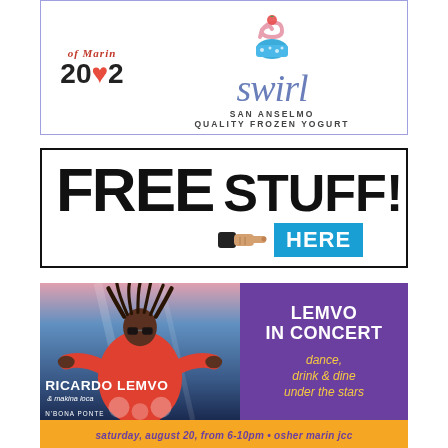[Figure (logo): Swirl San Anselmo Quality Frozen Yogurt advertisement with frozen yogurt cup illustration and cursive Swirl logo]
[Figure (infographic): FREE STUFF! HERE advertisement with large bold text and pointing hand icon with blue HERE box]
[Figure (infographic): Ricardo Lemvo & makina loca - Lemvo in Concert advertisement. Dance, drink & dine under the stars. Saturday, August 20, from 6-10pm - Osher Marin JCC]